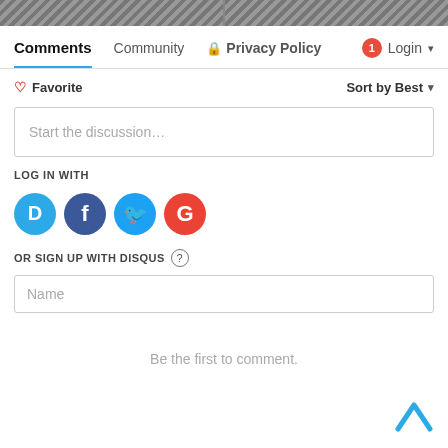[Figure (screenshot): Two dark gray image thumbnails side by side at the top of the page]
Comments   Community   🔒 Privacy Policy   1 Login
♡ Favorite   Sort by Best
Start the discussion…
LOG IN WITH
[Figure (logo): Social login icons: Disqus (blue), Facebook (dark blue), Twitter (light blue), Google (red)]
OR SIGN UP WITH DISQUS ?
Name
Be the first to comment.